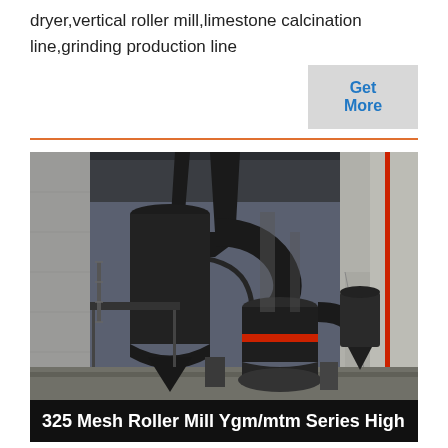dryer,vertical roller mill,limestone calcination line,grinding production line
Get More
[Figure (photo): Industrial interior photograph showing a vertical roller mill (MTM/YGM series) with large black ductwork, cyclone separator, and associated equipment inside a large industrial building with concrete walls and steel structure.]
325 Mesh Roller Mill Ygm/mtm Series High